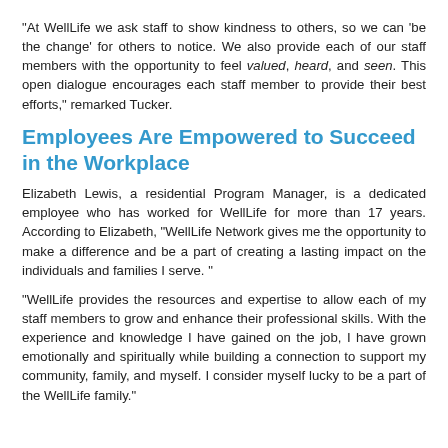"At WellLife we ask staff to show kindness to others, so we can 'be the change' for others to notice. We also provide each of our staff members with the opportunity to feel valued, heard, and seen. This open dialogue encourages each staff member to provide their best efforts," remarked Tucker.
Employees Are Empowered to Succeed in the Workplace
Elizabeth Lewis, a residential Program Manager, is a dedicated employee who has worked for WellLife for more than 17 years. According to Elizabeth, "WellLife Network gives me the opportunity to make a difference and be a part of creating a lasting impact on the individuals and families I serve. "
"WellLife provides the resources and expertise to allow each of my staff members to grow and enhance their professional skills. With the experience and knowledge I have gained on the job, I have grown emotionally and spiritually while building a connection to support my community, family, and myself. I consider myself lucky to be a part of the WellLife family."